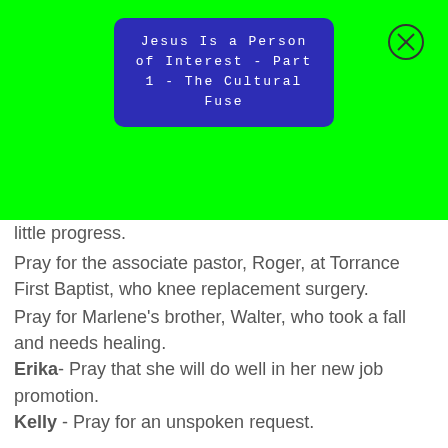Jesus Is a Person of Interest - Part 1 - The Cultural Fuse
little progress.
Pray for the associate pastor, Roger, at Torrance First Baptist, who knee replacement surgery.
Pray for Marlene's brother, Walter, who took a fall and needs healing.
Erika- Pray that she will do well in her new job promotion.
Kelly - Pray for an unspoken request.